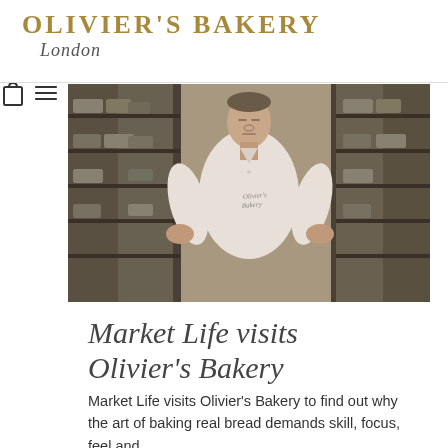OLIVIER'S BAKERY London
[Figure (photo): Baker in white uniform standing with hands on hips in front of dark shelving racks with baked goods, wearing an Olivier's Bakery branded shirt]
Market Life visits Olivier's Bakery
Market Life visits Olivier's Bakery to find out why the art of baking real bread demands skill, focus, feel and